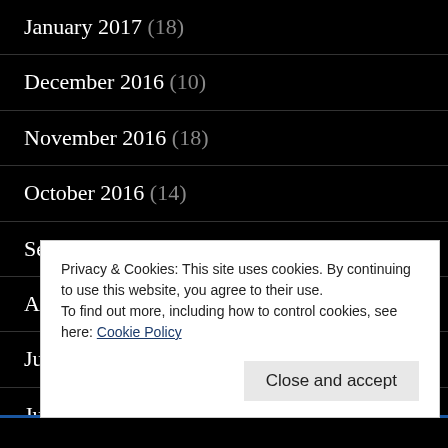January 2017 (18)
December 2016 (10)
November 2016 (18)
October 2016 (14)
September 2016 (17)
August 2016 (17)
July 2016 (11)
June 2016 (16)
Privacy & Cookies: This site uses cookies. By continuing to use this website, you agree to their use. To find out more, including how to control cookies, see here: Cookie Policy